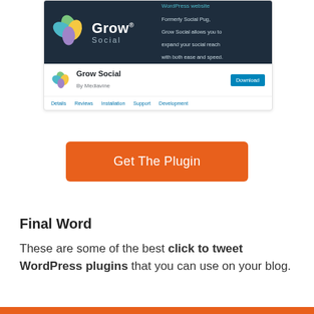[Figure (screenshot): Screenshot of the Grow Social WordPress plugin page showing the plugin banner with logo, plugin title 'Grow Social', 'By Mediavine' attribution, a Download button, and navigation tabs for Details, Reviews, Installation, Support, Development]
Get The Plugin
Final Word
These are some of the best click to tweet WordPress plugins that you can use on your blog.